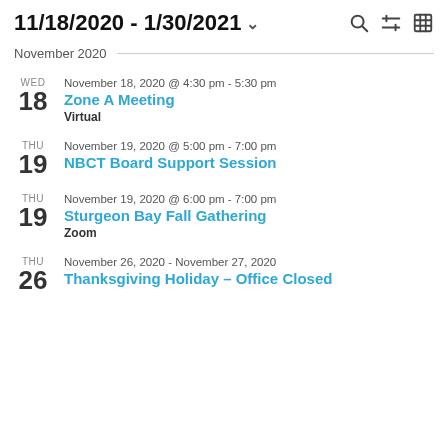11/18/2020 - 1/30/2021
November 2020
WED 18 | November 18, 2020 @ 4:30 pm - 5:30 pm | Zone A Meeting | Virtual
THU 19 | November 19, 2020 @ 5:00 pm - 7:00 pm | NBCT Board Support Session
THU 19 | November 19, 2020 @ 6:00 pm - 7:00 pm | Sturgeon Bay Fall Gathering | Zoom
THU 26 | November 26, 2020 - November 27, 2020 | Thanksgiving Holiday – Office Closed